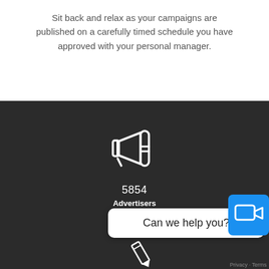Sit back and relax as your campaigns are published on a carefully timed schedule you have approved with your personal manager.
[Figure (illustration): Megaphone/loudspeaker icon in white outline style on dark background]
5854
Advertisers
Can we help you?
Privacy · Terms